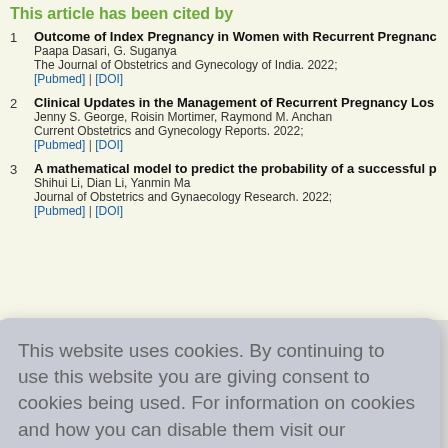This article has been cited by
1. Outcome of Index Pregnancy in Women with Recurrent Pregnanc... Paapa Dasari, G. Suganya. The Journal of Obstetrics and Gynecology of India. 2022; [Pubmed] | [DOI]
2. Clinical Updates in the Management of Recurrent Pregnancy Los... Jenny S. George, Roisin Mortimer, Raymond M. Anchan. Current Obstetrics and Gynecology Reports. 2022; [Pubmed] | [DOI]
3. A mathematical model to predict the probability of a successful p... Shihui Li, Dian Li, Yanmin Ma. Journal of Obstetrics and Gynaecology Research. 2022; [Pubmed] | [DOI]
This website uses cookies. By continuing to use this website you are giving consent to cookies being used. For information on cookies and how you can disable them visit our
Privacy and Cookie Policy.
AGREE & PROCEED